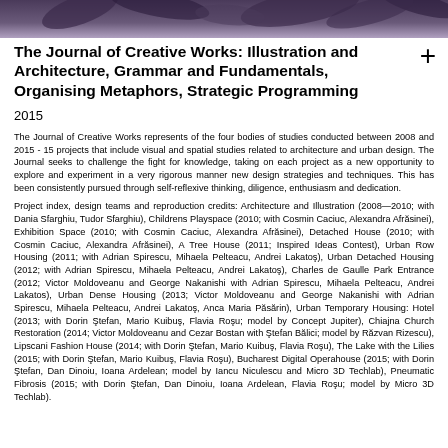[Figure (photo): Dark toned header image with foliage/plants silhouette in purple-grey tones]
The Journal of Creative Works: Illustration and Architecture, Grammar and Fundamentals, Organising Metaphors, Strategic Programming
2015
The Journal of Creative Works represents of the four bodies of studies conducted between 2008 and 2015 - 15 projects that include visual and spatial studies related to architecture and urban design. The Journal seeks to challenge the fight for knowledge, taking on each project as a new opportunity to explore and experiment in a very rigorous manner new design strategies and techniques. This has been consistently pursued through self-reflexive thinking, diligence, enthusiasm and dedication.
Project index, design teams and reproduction credits: Architecture and Illustration (2008—2010; with Dania Sfarghiu, Tudor Sfarghiu), Childrens Playspace (2010; with Cosmin Caciuc, Alexandra Afrăsinei), Exhibition Space (2010; with Cosmin Caciuc, Alexandra Afrăsinei), Detached House (2010; with Cosmin Caciuc, Alexandra Afrăsinei), A Tree House (2011; Inspired Ideas Contest), Urban Row Housing (2011; with Adrian Spirescu, Mihaela Pelteacu, Andrei Lakatoş), Urban Detached Housing (2012; with Adrian Spirescu, Mihaela Pelteacu, Andrei Lakatoş), Charles de Gaulle Park Entrance (2012; Victor Moldoveanu and George Nakanishi with Adrian Spirescu, Mihaela Pelteacu, Andrei Lakatos), Urban Dense Housing (2013; Victor Moldoveanu and George Nakanishi with Adrian Spirescu, Mihaela Pelteacu, Andrei Lakatoş, Anca Maria Păsărin), Urban Temporary Housing: Hotel (2013; with Dorin Şfefan, Mario Kuibuş, Flavia Roşu; model by Concept Jupiter), Chiajna Church Restoration (2014; Victor Moldoveanu and Cezar Bostan with Şfefan Bălici; model by Răzvan Rizescu), Lipscani Fashion House (2014; with Dorin Şfefan, Mario Kuibuş, Flavia Roşu), The Lake with the Lilies (2015; with Dorin Şfefan, Mario Kuibuş, Flavia Roşu), Bucharest Digital Operahouse (2015; with Dorin Şfefan, Dan Dinoiu, Ioana Ardelean; model by Iancu Niculescu and Micro 3D Techlab), Pneumatic Fibrosis (2015; with Dorin Şfefan, Dan Dinoiu, Ioana Ardelean, Flavia Roşu; model by Micro 3D Techlab).